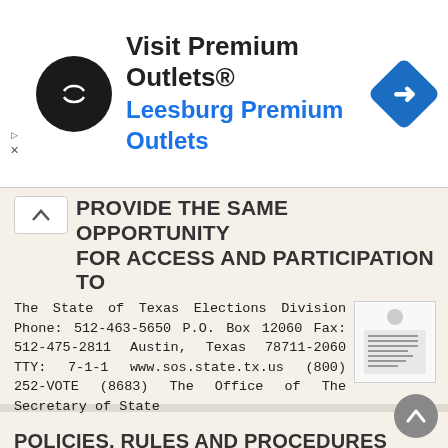[Figure (screenshot): Ad banner for Visit Premium Outlets / Leesburg Premium Outlets with circular black logo and blue diamond navigation icon]
PROVIDE THE SAME OPPORTUNITY FOR ACCESS AND PARTICIPATION TO
The State of Texas Elections Division Phone: 512-463-5650 P.O. Box 12060 Fax: 512-475-2811 Austin, Texas 78711-2060 TTY: 7-1-1 www.sos.state.tx.us (800) 252-VOTE (8683) The Office of The Secretary of State
More information →
POLICIES, RULES AND PROCEDURES
POLICIES, RULES AND PROCEDURES of the Propane Education and Research Council, Inc. Suite 1075 1140 Connecticut Avenue, NW Washington, DC 20036 As Amended Through February 2, 2011 Table Of Contents SECTION